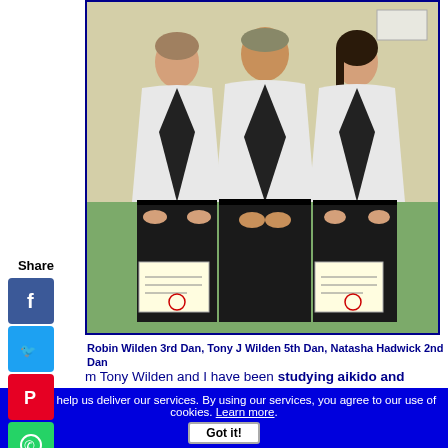[Figure (photo): Three people in aikido gi (white uniforms) with black hakama, kneeling on a green mat holding certificates. Left: male, center: older male, right: female.]
Robin Wilden 3rd Dan, Tony J Wilden 5th Dan, Natasha Hadwick 2nd Dan
m Tony Wilden and I have been studying aikido and health since 1985. I have a deep interest in aikido, aiki principles, health, environmental issues, spiritual matters, and the creation of harmony between people and nature.
Cookies help us deliver our services. By using our services, you agree to our use of cookies. Learn more. Got it!